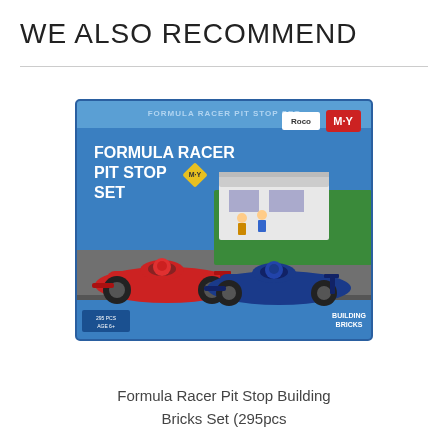WE ALSO RECOMMEND
[Figure (photo): Product box image of Formula Racer Pit Stop Building Bricks Set (295pcs) by M-Y. The box shows two formula racing cars (one red, one blue) with mini figures, a pit stop building, and building brick components on a racetrack scene.]
Formula Racer Pit Stop Building Bricks Set (295pcs